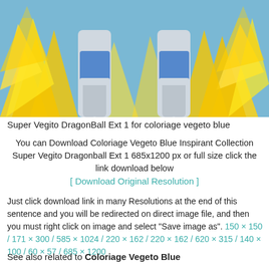[Figure (illustration): Anime illustration of Super Vegito from DragonBall with yellow energy aura flames surrounding the character's lower body and legs, on a blue background]
Super Vegito DragonBall Ext 1 for coloriage vegeto blue
You can Download Coloriage Vegeto Blue Inspirant Collection Super Vegito Dragonball Ext 1 685x1200 px or full size click the link download below
[ Download Original Resolution ]
Just click download link in many Resolutions at the end of this sentence and you will be redirected on direct image file, and then you must right click on image and select "Save image as". 150 × 150 / 171 × 300 / 585 × 1024 / 220 × 162 / 220 × 162 / 620 × 315 / 140 × 100 / 60 × 57 / 685 × 1200
See also related to Coloriage Vegeto Blue